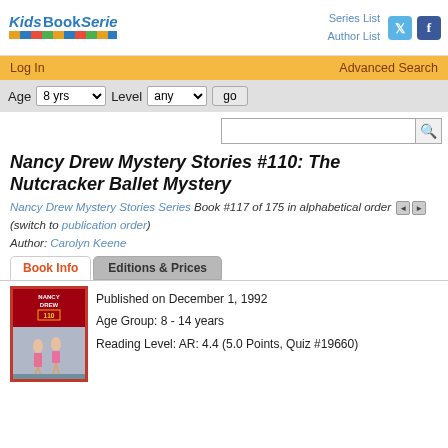[Figure (logo): KidsBookSeries logo with colorful stripe pattern]
Series List | Author List
Log In | Advanced Search
Age 8 yrs  Level any  go
Nancy Drew Mystery Stories #110: The Nutcracker Ballet Mystery
Nancy Drew Mystery Stories Series Book #117 of 175 in alphabetical order ◄ ► (switch to publication order)
Author: Carolyn Keene
Book Info | Editions & Prices
[Figure (photo): Nancy Drew book cover - The Nutcracker Ballet Mystery, red border with ballet dancers]
Published on December 1, 1992
Age Group: 8 - 14 years
Reading Level: AR: 4.4 (5.0 Points, Quiz #19660)